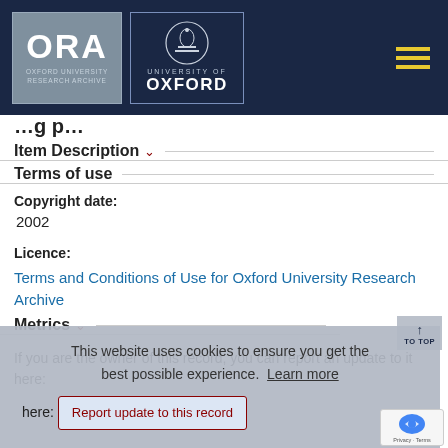ORA — Oxford University Research Archive | University of Oxford
Item Description
Terms of use
Copyright date:
2002
Licence:
Terms and Conditions of Use for Oxford University Research Archive
Metrics
This website uses cookies to ensure you get the best possible experience. Learn more
If you are the owner of this record, you can report an update to it here:
Report update to this record